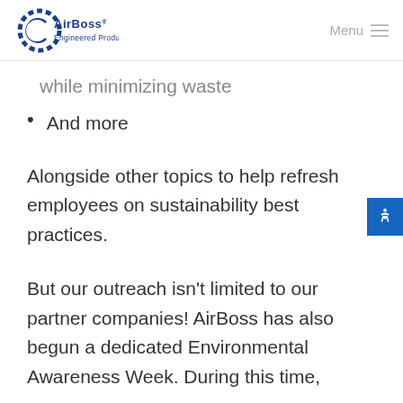AirBoss Engineered Products | Menu
while minimizing waste
And more
Alongside other topics to help refresh employees on sustainability best practices.
But our outreach isn't limited to our partner companies! AirBoss has also begun a dedicated Environmental Awareness Week. During this time, we